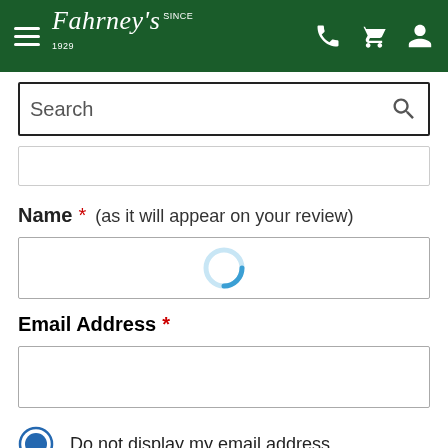[Figure (screenshot): Fahrneys website header with dark green background, hamburger menu, Fahrney's logo in white italic script, and phone, cart, and user icons on the right]
[Figure (screenshot): Search input box with magnifying glass icon, dark border]
[Figure (screenshot): Empty filter/dropdown bar with light border]
Name * (as it will appear on your review)
[Figure (screenshot): Name input field with loading spinner (blue arc) visible inside]
Email Address *
[Figure (screenshot): Email address input field, empty]
Do not display my email address.